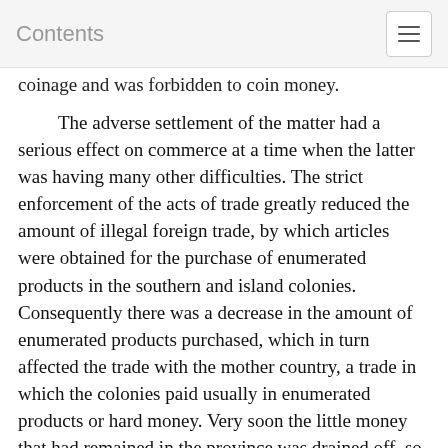Contents
coinage and was forbidden to coin money.
The adverse settlement of the matter had a serious effect on commerce at a time when the latter was having many other difficulties. The strict enforcement of the acts of trade greatly reduced the amount of illegal foreign trade, by which articles were obtained for the purchase of enumerated products in the southern and island colonies. Consequently there was a decrease in the amount of enumerated products purchased, which in turn affected the trade with the mother country, a trade in which the colonies paid usually in enumerated products or hard money. Very soon the little money that had remained in the province was drained off, so now the merchants had neither money nor sufficient enumerated products to use in exchange trade with England. The result was most disastrous. Merchant after merchant went bankrupt and shops were closing every day in Boston. Even